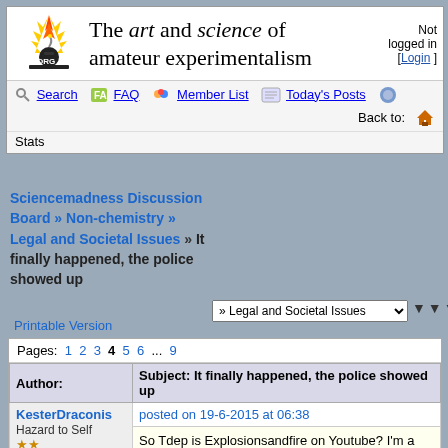The art and science of amateur experimentalism — Not logged in [Login]
Search  FAQ  Member List  Today's Posts  Stats  Back to:
Sciencemadness Discussion Board » Non-chemistry » Legal and Societal Issues » It finally happened, the police showed up
» Legal and Societal Issues (dropdown)
Printable Version
| Author: | Subject: It finally happened, the police showed up |
| --- | --- |
| KesterDraconis
Hazard to Self
**
___ | posted on 19-6-2015 at 06:38

So Tdep is Explosionsandfire on Youtube? I'm a |